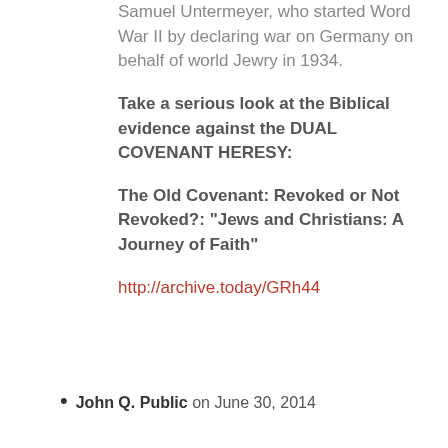Samuel Untermeyer, who started Word War II by declaring war on Germany on behalf of world Jewry in 1934.
Take a serious look at the Biblical evidence against the DUAL COVENANT HERESY:
The Old Covenant: Revoked or Not Revoked?: “Jews and Christians: A Journey of Faith”
http://archive.today/GRh44
John Q. Public on June 30, 2014